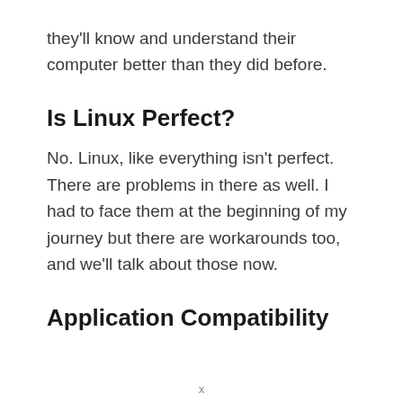they'll know and understand their computer better than they did before.
Is Linux Perfect?
No. Linux, like everything isn't perfect. There are problems in there as well. I had to face them at the beginning of my journey but there are workarounds too, and we'll talk about those now.
Application Compatibility
x